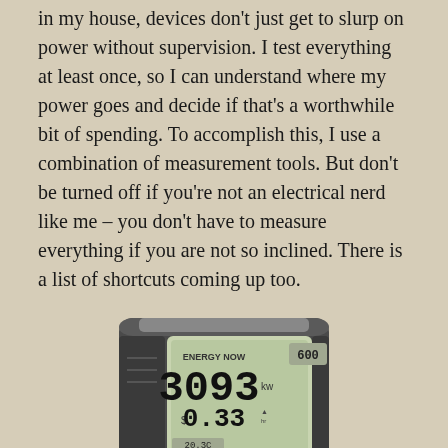in my house, devices don't just get to slurp on power without supervision. I test everything at least once, so I can understand where my power goes and decide if that's a worthwhile bit of spending. To accomplish this, I use a combination of measurement tools. But don't be turned off if you're not an electrical nerd like me – you don't have to measure everything if you are not so inclined. There is a list of shortcuts coming up too.
[Figure (photo): Photo of an Efergy Elite Combo energy monitor device showing LCD display with 3093 kW and 0.33 readings, temperature 20.3C, and a green button.]
The Efergy Elite Combo system comes with a very small wireless clamp that sits permanently around the main input wires in my circuit panel and measures power consumption right down to the watt with 10 second